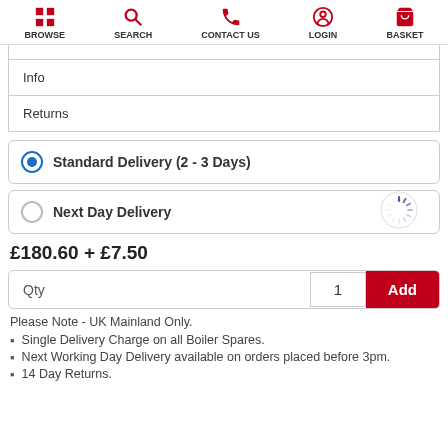BROWSE | SEARCH | CONTACT US | LOGIN | BASKET
Info
Returns
Standard Delivery (2 - 3 Days)
Next Day Delivery
£180.60 + £7.50
Qty  1  Add
Please Note - UK Mainland Only.
Single Delivery Charge on all Boiler Spares.
Next Working Day Delivery available on orders placed before 3pm.
14 Day Returns.